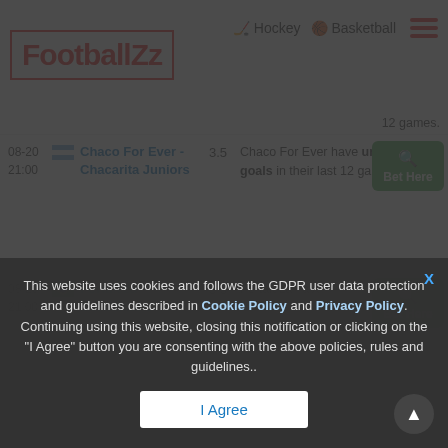FootballZz | Hockey | Basketball
12 games.
| Date | Flag | Teams | Score | Description | Action |
| --- | --- | --- | --- | --- | --- |
| 08-20 21:00 | Argentina | Chaco For Ever - Chacarita Juniors | 3.5 | Chaco For Ever have under 3.5 goals in their last 12 games. | Bet Here |
| 08-20 21:00 | Brazil | Fortaleza - Corinthians | 3.5 | Fortaleza have under 3.5 goals in | Bet Here |
This website uses cookies and follows the GDPR user data protection and guidelines described in Cookie Policy and Privacy Policy. Continuing using this website, closing this notification or clicking on the "I Agree" button you are consenting with the above policies, rules and guidelines.